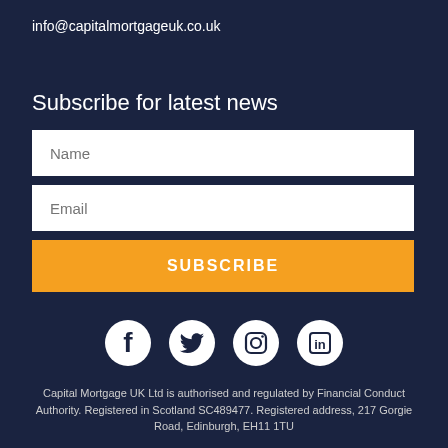info@capitalmortgageuk.co.uk
Subscribe for latest news
Name
Email
SUBSCRIBE
[Figure (infographic): Social media icons: Facebook, Twitter, Instagram, LinkedIn — white on dark background]
Capital Mortgage UK Ltd is authorised and regulated by Financial Conduct Authority. Registered in Scotland SC489477. Registered address, 217 Gorgie Road, Edinburgh, EH11 1TU